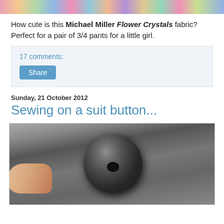[Figure (photo): Colorful fabric or textile image strip at top of page]
How cute is this Michael Miller Flower Crystals fabric? Perfect for a pair of 3/4 pants for a little girl.
17 comments:
Share
Sunday, 21 October 2012
Sewing on a suit button...
[Figure (photo): Close-up photo of a dark grey/black suit button being held by fingers]